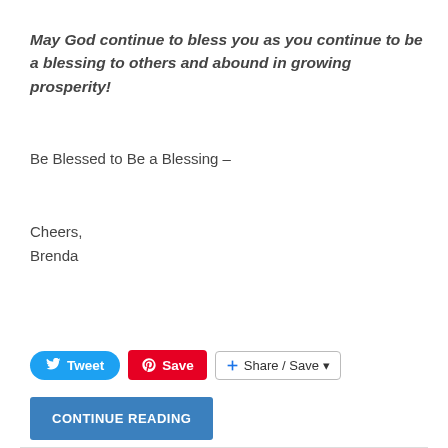May God continue to bless you as you continue to be a blessing to others and abound in growing prosperity!
Be Blessed to Be a Blessing –
Cheers,
Brenda
[Figure (screenshot): Social sharing buttons: Tweet (Twitter/blue), Save (Pinterest/red), Share/Save (grey bordered button with plus icon)]
[Figure (screenshot): CONTINUE READING button in blue]